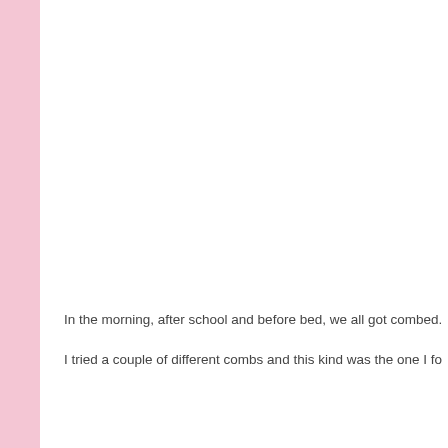In the morning, after school and before bed, we all got combed.
I tried a couple of different combs and this kind was the one I fo